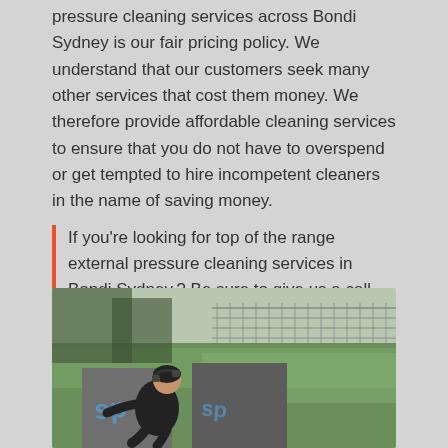pressure cleaning services across Bondi Sydney is our fair pricing policy. We understand that our customers seek many other services that cost them money. We therefore provide affordable cleaning services to ensure that you do not have to overspend or get tempted to hire incompetent cleaners in the name of saving money.
If you're looking for top of the range external pressure cleaning services in Bondi Sydney,? Be sure to give us a call today, we are available 24/7 and able to give quotes over the phone.
[Figure (photo): A person in dark clothing kneeling and working on graffiti-covered concrete blocks or structures outdoors, with a chain-link fence and green grass in the background.]